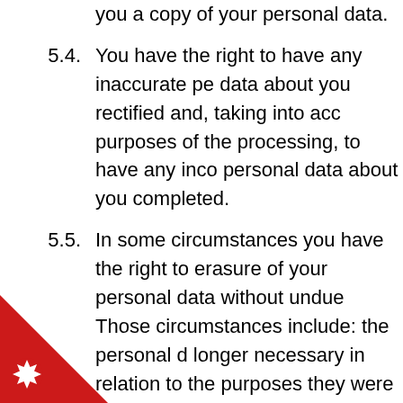you a copy of your personal data.
5.4. You have the right to have any inaccurate personal data about you rectified and, taking into account the purposes of the processing, to have any incomplete personal data about you completed.
5.5. In some circumstances you have the right to the erasure of your personal data without undue delay. Those circumstances include: the personal data are no longer necessary in relation to the purposes for which they were collected or otherwise processed; you object to the processing under certain rules of applicable data protection law. However, there are exclusions of the right to erasure. The general exclusions include where processing is necessary: for exercising the right of freedom of expression and information; for compliance with a legal obligation; or for the establishment,